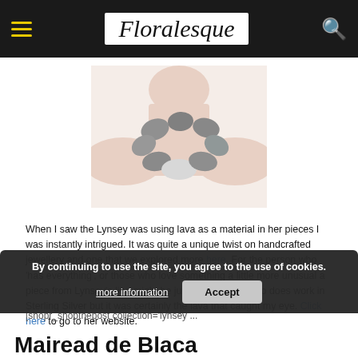Floralesque
[Figure (photo): Person wearing a necklace made of oval lava stone pieces, shown from shoulders up on a light background.]
When I saw the Lynsey was using lava as a material in her pieces I was instantly intrigued. It was quite a unique twist on handcrafted jewellery and one that we explored more here. For the person who 'has everything', or those who love something a little more unusual a piece from Lynsey's line might be just perfect. She also does work in Sterling Silver but it was certainly the lava that caught my eye. Click here to go to her website.
[shopr_shopthepost collection='lynsey ...
By continuing to use the site, you agree to the use of cookies.
Mairead de Blaca